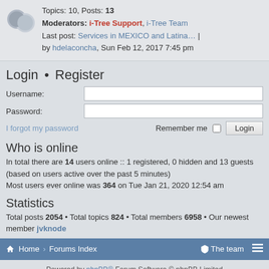Topics: 10, Posts: 13
Moderators: i-Tree Support, i-Tree Team
Last post: Services in MEXICO and Latina… | by hdelaconcha, Sun Feb 12, 2017 7:45 pm
Login • Register
Username:
Password:
I forgot my password
Remember me  Login
Who is online
In total there are 14 users online :: 1 registered, 0 hidden and 13 guests (based on users active over the past 5 minutes)
Most users ever online was 364 on Tue Jan 21, 2020 12:54 am
Statistics
Total posts 2054 • Total topics 824 • Total members 6958 • Our newest member jvknode
Home › Forums Index    The team
Powered by phpBB® Forum Software © phpBB Limited
Style by Arty - Update phpBB 3.2 by MrGaby